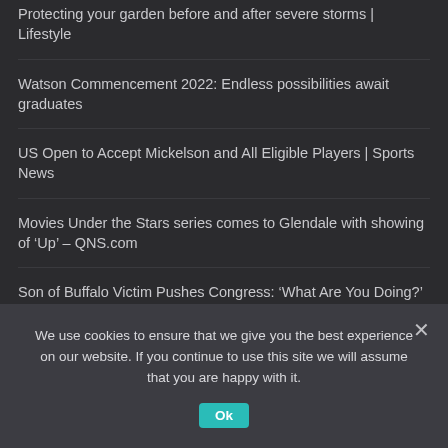Protecting your garden before and after severe storms | Lifestyle
Watson Commencement 2022: Endless possibilities await graduates
US Open to Accept Mickelson and All Eligible Players | Sports News
Movies Under the Stars series comes to Glendale with showing of ‘Up’ – QNS.com
Son of Buffalo Victim Pushes Congress: ‘What Are You Doing?’ | Political News
Browse by Category
Business    Health    Science & Technology
We use cookies to ensure that we give you the best experience on our website. If you continue to use this site we will assume that you are happy with it.